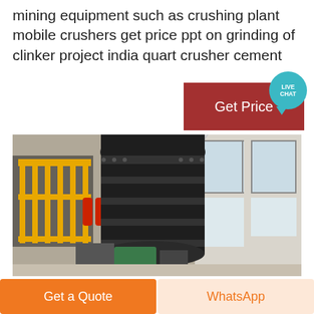mining equipment such as crushing plant mobile crushers get price ppt on grinding of clinker project india quart crusher cement
[Figure (photo): Industrial grinding mill or crusher equipment photographed from above inside a factory, showing a large dark cylindrical mill body, yellow safety railing on the left, fire extinguishers, silver duct pipe, and large windows on the right wall.]
Get Price
LIVE CHAT
Get a Quote
WhatsApp